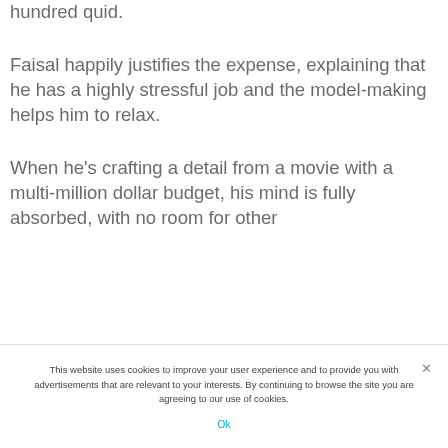hundred quid.
Faisal happily justifies the expense, explaining that he has a highly stressful job and the model-making helps him to relax.
When he's crafting a detail from a movie with a multi-million dollar budget, his mind is fully absorbed, with no room for other
This website uses cookies to improve your user experience and to provide you with advertisements that are relevant to your interests. By continuing to browse the site you are agreeing to our use of cookies.
Ok